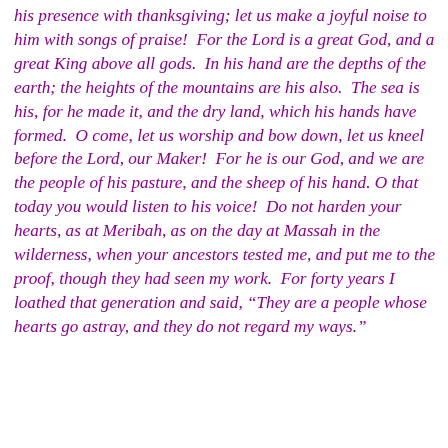his presence with thanksgiving; let us make a joyful noise to him with songs of praise!  For the Lord is a great God, and a great King above all gods.  In his hand are the depths of the earth; the heights of the mountains are his also.  The sea is his, for he made it, and the dry land, which his hands have formed.  O come, let us worship and bow down, let us kneel before the Lord, our Maker!  For he is our God, and we are the people of his pasture, and the sheep of his hand. O that today you would listen to his voice!  Do not harden your hearts, as at Meribah, as on the day at Massah in the wilderness, when your ancestors tested me, and put me to the proof, though they had seen my work.  For forty years I loathed that generation and said, “They are a people whose hearts go astray, and they do not regard my ways.”